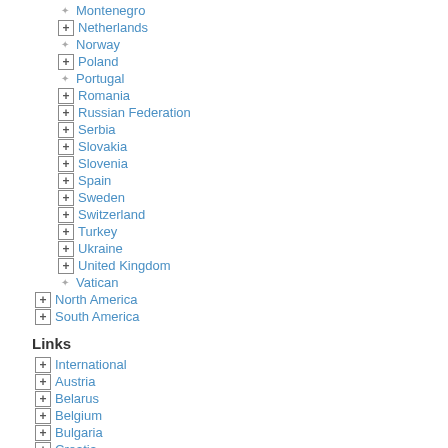Montenegro
Netherlands
Norway
Poland
Portugal
Romania
Russian Federation
Serbia
Slovakia
Slovenia
Spain
Sweden
Switzerland
Turkey
Ukraine
United Kingdom
Vatican
North America
South America
Links
International
Austria
Belarus
Belgium
Bulgaria
Croatia
Czech Republic
Finland
France
Germany
Hungary